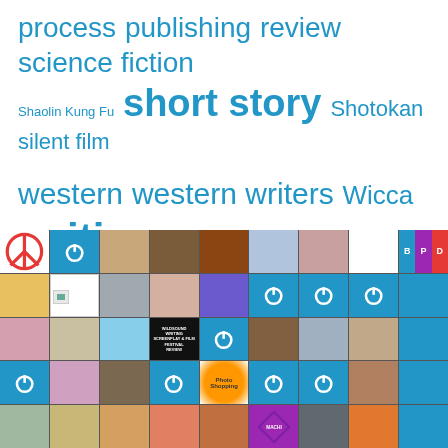[Figure (infographic): Tag cloud with words: process, publishing, review, science fiction (large), Shaolin Kung Fu (small), short story (very large bold), Shotokan, silent film (medium), western, western writers (large), Wicca (medium), writing (very large bold)]
[Figure (photo): Grid of profile photos and avatar icons, approximately 9 columns by 5 rows, showing various people, logos, and placeholder icons on blue/colored backgrounds]